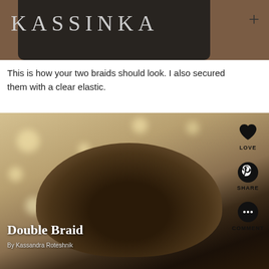KASSINKA
This is how your two braids should look. I also secured them with a clear elastic.
[Figure (photo): Sepia-toned photo of the back of a person's head showing a double braid hairstyle, with bokeh lights in the background. Overlay text reads 'Double Braid' by Kassandra Roteshnik. Social action buttons (LOVE, SHARE, COMMENT) appear on the right.]